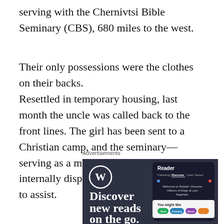serving with the Chernivtsi Bible Seminary (CBS), 680 miles to the west.
Their only possessions were the clothes on their backs.
Resettled in temporary housing, last month the uncle was called back to the front lines. The girl has been sent to a Christian camp, and the seminary—serving as a ministry hub for the internally displaced—is doing what it can to assist.
Advertisements
[Figure (screenshot): WordPress advertisement showing a dark-themed banner with WordPress logo, text 'Discover new reads on the go.' and a smartphone mockup showing the WordPress Reader interface with tabs and blog discovery cards.]